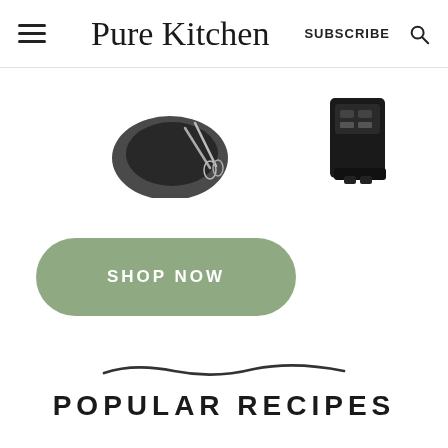Pure Kitchen | SUBSCRIBE
[Figure (photo): Three kitchen appliances/tools partially visible: a dark bowl with metal whisks on the left, a black blender/appliance in the center, and a silver appliance on the right, all cropped at the top edge of the content area.]
[Figure (other): A sage green rounded rectangle button with white bold uppercase text reading SHOP NOW]
[Figure (illustration): A hand-drawn style dark curved wavy underline/stroke centered on the page]
POPULAR RECIPES